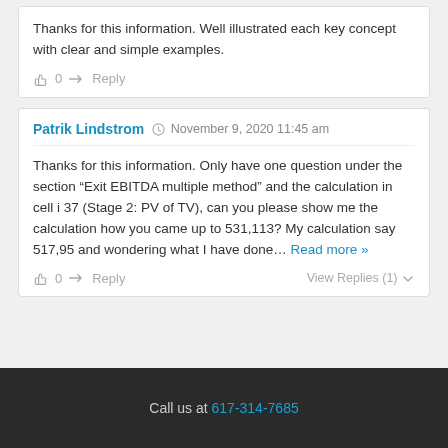Thanks for this information. Well illustrated each key concept with clear and simple examples.
Patrik Lindstrom  November 9, 2020 11:45 am
Thanks for this information. Only have one question under the section “Exit EBITDA multiple method” and the calculation in cell i 37 (Stage 2: PV of TV), can you please show me the calculation how you came up to 531,113? My calculation say 517,95 and wondering what I have done… Read more »
Call us at 617-314-7685